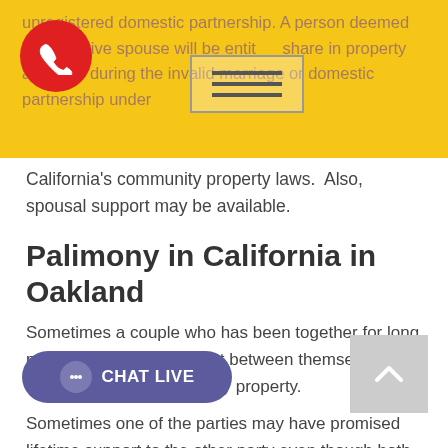unregistered domestic partnership. A person deemed to a putative spouse will be entitled to share in property acquired during the invalid marriage or domestic partnership under California's community property laws. Also, spousal support may be available.
California's community property laws.  Also, spousal support may be available.
Palimony in California in Oakland
Sometimes a couple who has been together for long period have an agreement between themselves to treat assets like community property.
Sometimes one of the parties may have promised lifetime support to the other party even though both parties knew th...
Under California law, no one is legally entitled to support or